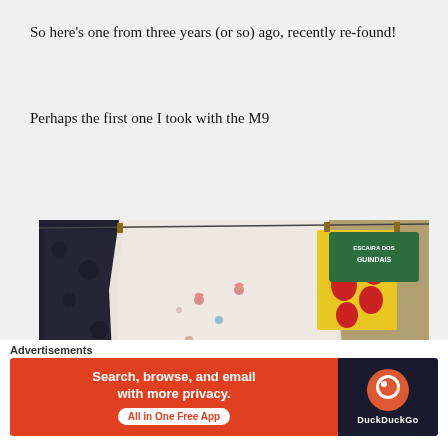So here's one from three years (or so) ago, recently re-found!
Perhaps the first one I took with the M9
[Figure (photo): Outdoor photograph of laundry hanging on a clothesline between buildings, including a white floral-embroidered sheet and a yellow cloth with red strawberry pattern, against a stone wall with a green street sign reading 'ESCAIRA DOS GUINDAIS']
Advertisements
[Figure (screenshot): DuckDuckGo advertisement banner with orange left panel reading 'Search, browse, and email with more privacy. All in One Free App' and dark right panel with DuckDuckGo logo]